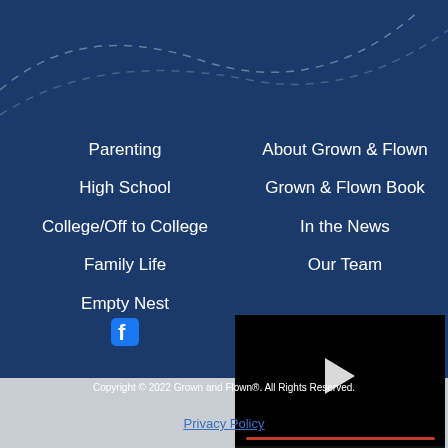[Figure (screenshot): Website footer navigation on dark blue background with decorative dashed curve lines at top. Two columns of navigation links on the left and right.]
Parenting
High School
College/Off to College
Family Life
Empty Nest
About Grown & Flown
Grown & Flown Book
In the News
Our Team
[Figure (screenshot): Embedded video player with black background, play button, red progress bar, and controls showing time 01:33, grid icon, settings gear, and fullscreen icon.]
Copyright © 2022 Grown and Flown®. All Rights Reserved.
Privacy Policy